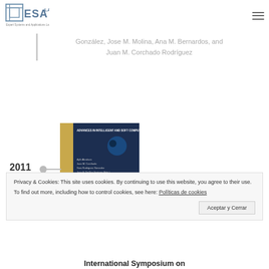[Figure (logo): ESA Lab logo with text 'Expert Systems and Applications Laboratory']
González, Jose M. Molina, Ana M. Bernardos, and Juan M. Corchado Rodríguez
[Figure (photo): Book cover of 'Advances in Intelligent and Soft Computing #1' edited by Ajith Abraham, Juan M. Corchado, Sara Rodriguez Gonzalez, Juan F. De Paz Santana]
2011
Privacy & Cookies: This site uses cookies. By continuing to use this website, you agree to their use.
To find out more, including how to control cookies, see here: Políticas de cookies
Aceptar y Cerrar
International Symposium on